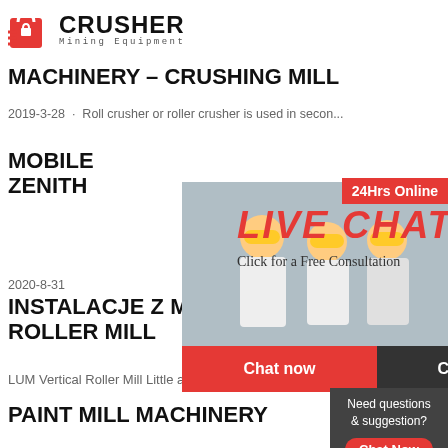[Figure (logo): Crusher Mining Equipment logo with red shopping bag icon and bold CRUSHER text]
MACHINERY – CRUSHING MILL
2019-3-28 · Roll crusher or roller crusher is used in secon...
MOBILE ... ZENITH
[Figure (screenshot): Live chat popup overlay with workers in hard hats, LIVE CHAT text in red, Click for a Free Consultation, Chat now and Chat later buttons]
2020-8-31
[Figure (photo): 24Hrs Online badge with female customer service agent photo on right side]
[Figure (infographic): Right sidebar: Need questions & suggestion? Chat Now button, dashed divider, Enquiry, limingjlmofen@sina.com]
INSTALACJE Z MIEDZI – LUM V... ROLLER MILL
LUM Vertical Roller Mill Little abrasion wear, Lo...
PAINT MILL MACHINERY